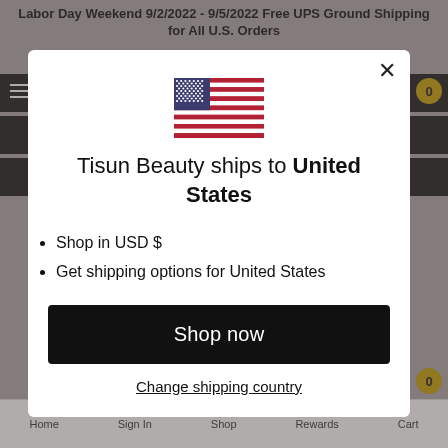Labor Day Weekend 9/2/2022 - 9/5/2022 Free UPS Ground Shipping for All U.S. Orders
[Figure (screenshot): Modal popup on Tisun Beauty website showing US flag, shipping information, and a 'Shop now' button]
Tisun Beauty ships to United States
Shop in USD $
Get shipping options for United States
Shop now
Change shipping country
Home  Sign In  Shop  Rewards  Cart